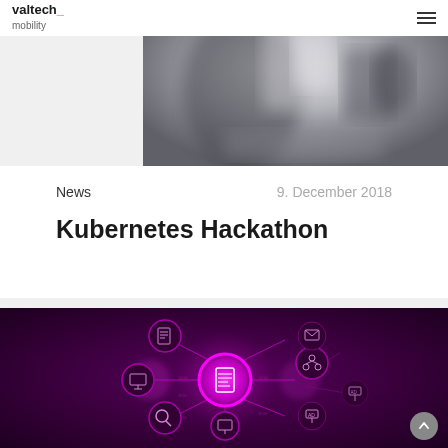valtech_ mobility
[Figure (photo): Person sitting at a desk with a laptop, blurred/bokeh background, grayscale tones]
News    9. December 2018
Kubernetes Hackathon
[Figure (illustration): Dark purple background with a network/content marketing diagram showing interconnected nodes with icons (document, monitor, dollar sign, presentation screen, ad display, hierarchy) connected by glowing pink/magenta lines and arrows, with a large bright magenta circle in the center highlighting a content/document icon]